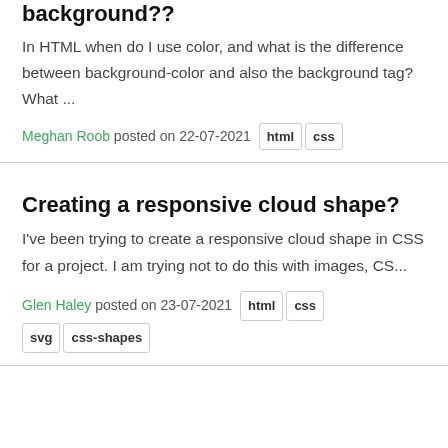background??
In HTML when do I use color, and what is the difference between background-color and also the background tag? What ...
Meghan Roob posted on 22-07-2021  html  css
Creating a responsive cloud shape?
I've been trying to create a responsive cloud shape in CSS for a project. I am trying not to do this with images, CS...
Glen Haley posted on 23-07-2021  html  css  svg  css-shapes